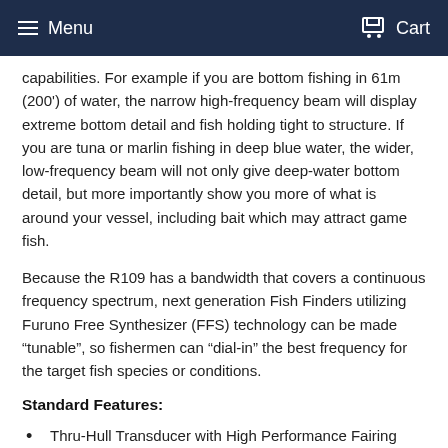Menu   Cart
capabilities. For example if you are bottom fishing in 61m (200') of water, the narrow high-frequency beam will display extreme bottom detail and fish holding tight to structure. If you are tuna or marlin fishing in deep blue water, the wider, low-frequency beam will not only give deep-water bottom detail, but more importantly show you more of what is around your vessel, including bait which may attract game fish.
Because the R109 has a bandwidth that covers a continuous frequency spectrum, next generation Fish Finders utilizing Furuno Free Synthesizer (FFS) technology can be made “tunable”, so fishermen can “dial-in” the best frequency for the target fish species or conditions.
Standard Features:
Thru-Hull Transducer with High Performance Fairing Block Kit
3kW Low Frequency, 2kW High Frequency
Furuno Free Synthesizer (FFS) compatible - select any two